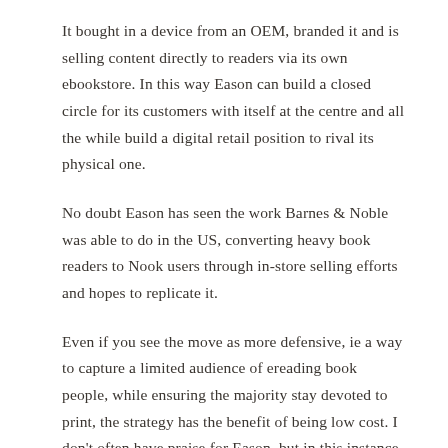It bought in a device from an OEM, branded it and is selling content directly to readers via its own ebookstore. In this way Eason can build a closed circle for its customers with itself at the centre and all the while build a digital retail position to rival its physical one.
No doubt Eason has seen the work Barnes & Noble was able to do in the US, converting heavy book readers to Nook users through in-store selling efforts and hopes to replicate it.
Even if you see the move as more defensive, ie a way to capture a limited audience of ereading book people, while ensuring the majority stay devoted to print, the strategy has the benefit of being low cost. I don't often have praise for Eason, but in this instance I think the company has played a good hand. Given the choices available to Eason I think it has taken by far the best option it has.